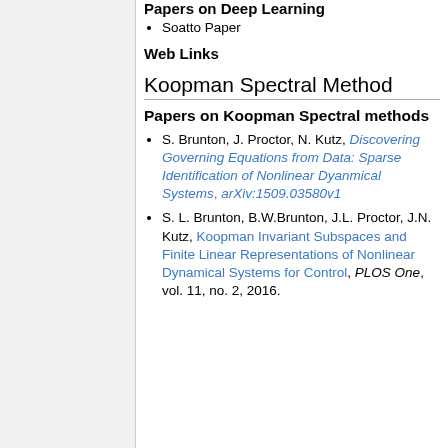Papers on Deep Learning
Soatto Paper
Web Links
Koopman Spectral Method
Papers on Koopman Spectral methods
S. Brunton, J. Proctor, N. Kutz, Discovering Governing Equations from Data: Sparse Identification of Nonlinear Dyanmical Systems, arXiv:1509.03580v1
S. L. Brunton, B.W.Brunton, J.L. Proctor, J.N. Kutz, Koopman Invariant Subspaces and Finite Linear Representations of Nonlinear Dynamical Systems for Control, PLOS One, vol. 11, no. 2, 2016.